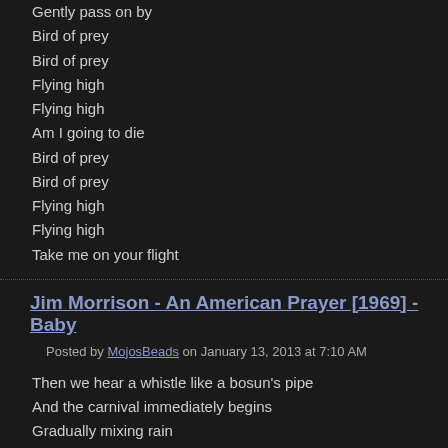Gently pass on by
Bird of prey
Bird of prey
Flying high
Flying high
Am I going to die
Bird of prey
Bird of prey
Flying high
Flying high
Take me on your flight
Jim Morrison - An American Prayer [1969] - Baby
Posted by MojosBeads on January 13, 2013 at 7:10 AM
Then we hear a whistle like a bosun's pipe
And the carnival immediately begins
Gradually mixing rain
Thunder
Bullfight
Football
Playground
War
Penny-arcade